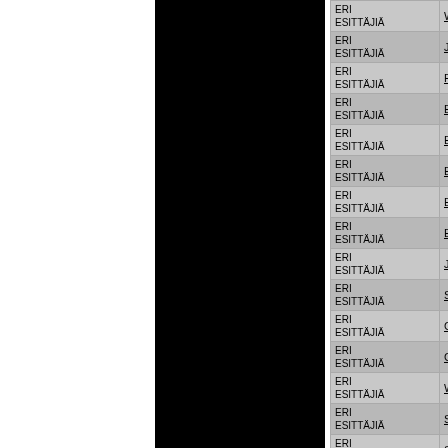| Artist | Title |
| --- | --- |
| ERI ESITTÄJIÄ | WANTED JAZZ - VOL. 1 (LP) |
| ERI ESITTÄJIÄ | JAZZ - TIMELESS CLASSICS FROM... |
| ERI ESITTÄJIÄ | FUNK WOMEN (2LP) |
| ERI ESITTÄJIÄ | ELECTRONIC MUSIC 1 - ANTHOLOG... |
| ERI ESITTÄJIÄ | ELECTRONIC MUSIC 2 - ANTHOLOG... |
| ERI ESITTÄJIÄ | ELECTRONIC MUSIC 3 - ANTHOLOG... |
| ERI ESITTÄJIÄ | ELECTRONIC MUSIC 4 - ANTHOLOG... |
| ERI ESITTÄJIÄ | ELECTRONIC MUSIC 5 - ANTHOLOG... |
| ERI ESITTÄJIÄ | JAZZ MEN - ICONIC ANTHEMS BY T... |
| ERI ESITTÄJIÄ | SOUL MEN - GROOVY ANTHEMS BY... |
| ERI ESITTÄJIÄ | COLLECTION VINTAGE SOUNDS SA... |
| ERI ESITTÄJIÄ | COLLECTION VINTAGE SOUNDS AF... |
| ERI ESITTÄJIÄ | WANTED BLAXPLOITATION (LP) |
| ERI ESITTÄJIÄ | SAMPLED JAZZ (2LP) |
| ERI ESITTÄJIÄ | SAMPLED FUNK (2LP) |
| ERI ESITTÄJIÄ | SAMPLED GROOVE (2LP) |
| ERI ESITTÄJIÄ | PRINCE IN JAZZ (LP) |
| ERI ESITTÄJIÄ | SAMPLED SOUL (CD) |
| ERI ESITTÄJIÄ | SAMPLED FUNK (CD) |